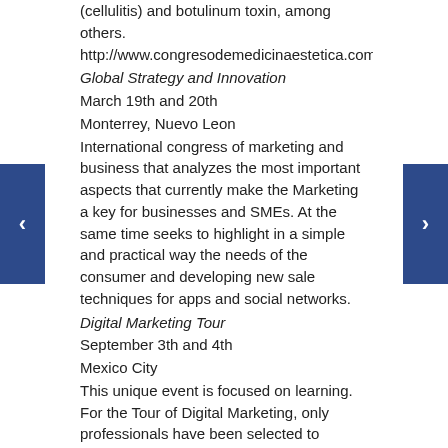(cellulitis) and botulinum toxin, among others. http://www.congresodemedicinaestetica.com/
Global Strategy and Innovation
March 19th and 20th
Monterrey, Nuevo Leon
International congress of marketing and business that analyzes the most important aspects that currently make the Marketing a key for businesses and SMEs. At the same time seeks to highlight in a simple and practical way the needs of the consumer and developing new sale techniques for apps and social networks.
Digital Marketing Tour
September 3th and 4th
Mexico City
This unique event is focused on learning. For the Tour of Digital Marketing, only professionals have been selected to perform best practices of digital marketing for to make you, your agency or your company grow. This 2015 the DMT will visit four cities (Guadalajara, Cancun, Mexico City and Monterrey) and there you can learn from instructors who practice every day what they will